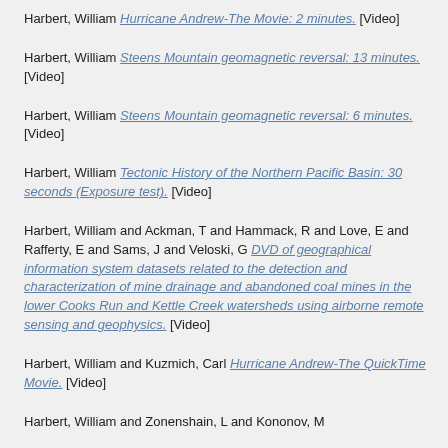Harbert, William Hurricane Andrew-The Movie: 2 minutes. [Video]
Harbert, William Steens Mountain geomagnetic reversal: 13 minutes. [Video]
Harbert, William Steens Mountain geomagnetic reversal: 6 minutes. [Video]
Harbert, William Tectonic History of the Northern Pacific Basin: 30 seconds (Exposure test). [Video]
Harbert, William and Ackman, T and Hammack, R and Love, E and Rafferty, E and Sams, J and Veloski, G DVD of geographical information system datasets related to the detection and characterization of mine drainage and abandoned coal mines in the lower Cooks Run and Kettle Creek watersheds using airborne remote sensing and geophysics. [Video]
Harbert, William and Kuzmich, Carl Hurricane Andrew-The QuickTime Movie. [Video]
Harbert, William and Zonenshain, L and Kononov, M